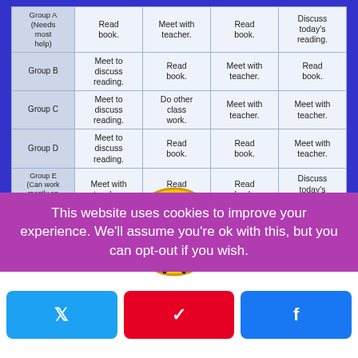| Group | Day 1 | Day 2 | Day 3 | Day 4 |
| --- | --- | --- | --- | --- |
| Group A (Needs most help) | Read book. | Meet with teacher. | Read book. | Discuss today's reading. |
| Group B | Meet to discuss reading. | Read book. | Meet with teacher. | Read book. |
| Group C | Meet to discuss reading. | Do other class work. | Meet with teacher. | Meet with teacher. |
| Group D | Meet to discuss reading. | Read book. | Read book. | Meet with teacher. |
| Group E (Can work mostly on their own) | Meet with teacher. | Read book. | Read book. | Discuss today's reading. |
[Figure (logo): Brain Ninjas logo - circular yellow badge with ninja figure and text]
At the beginning of the year, we often
This website uses cookies to improve your experience. We'll assume you're ok with this, but you can opt-out if you wish.